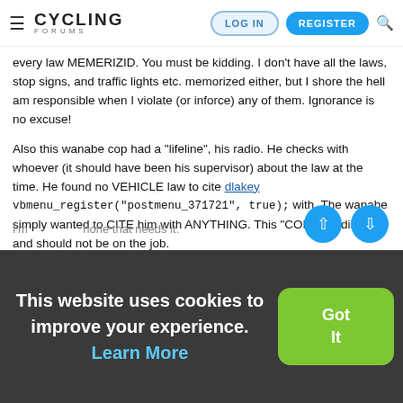≡ CYCLING FORUMS | LOG IN | REGISTER | 🔍
every law MEMERIZID. You must be kidding. I don't have all the laws, stop signs, and traffic lights etc. memorized either, but I shore the hell am responsible when I violate (or inforce) any of them. Ignorance is no excuse!
Also this wanabe cop had a "lifeline", his radio. He checks with whoever (it should have been his supervisor) about the law at the time. He found no VEHICLE law to cite dlakey vbmenu_register("postmenu_371721", true); with. The wanabe simply wanted to CITE him with ANYTHING. This "COP" is a disgrace and should not be on the job.
I'm ... none that needs it.
This website uses cookies to improve your experience. Learn More
Got It